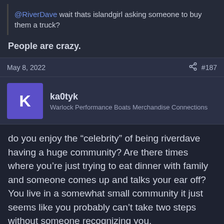RiverRyder said: @RiverDave wait thats islandgirl asking someone to buy them a truck?
People are crazy.
May 8, 2022  #187
ka0tyk
Warlock Performance Boats Merchandise Connections
do you enjoy the “celebrity” of being riverdave having a huge community? Are there times where you’re just trying to eat dinner with family and someone comes up and talks your ear off? You live in a somewhat small community it just seems like you probably can’t take two steps without someone recognizing you.
Shlbyntro and DWC